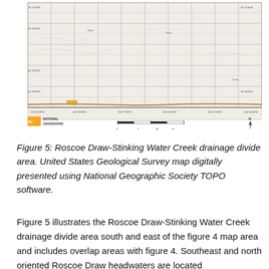[Figure (map): United States Geological Survey topographic map of the Roscoe Draw-Stinking Water Creek drainage divide area, digitally presented using National Geographic Society TOPO software. The map shows a grid of townships and ranges across a relatively flat terrain, with a road or feature running along the southern edge. The National Geographic logo appears in the lower left, with a scale bar in the center bottom.]
Figure 5: Roscoe Draw-Stinking Water Creek drainage divide area. United States Geological Survey map digitally presented using National Geographic Society TOPO software.
Figure 5 illustrates the Roscoe Draw-Stinking Water Creek drainage divide area south and east of the figure 4 map area and includes overlap areas with figure 4. Southeast and north oriented Roscoe Draw headwaters are located